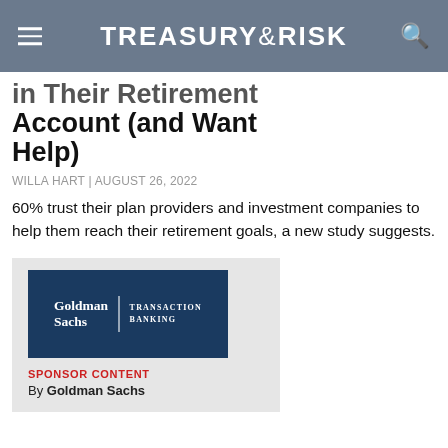TREASURY & RISK
in Their Retirement Account (and Want Help)
WILLA HART | AUGUST 26, 2022
60% trust their plan providers and investment companies to help them reach their retirement goals, a new study suggests.
[Figure (logo): Goldman Sachs Transaction Banking logo on dark navy background]
SPONSOR CONTENT
By Goldman Sachs